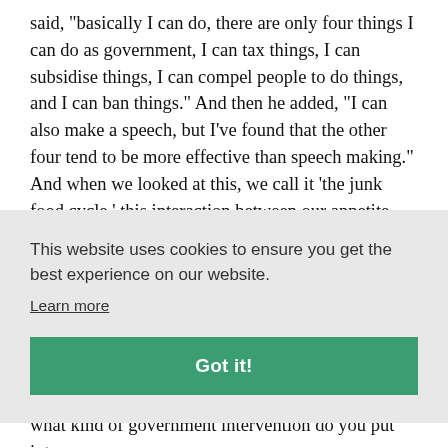said, 'basically I can do, there are only four things I can do as government, I can tax things, I can subsidise things, I can compel people to do things, and I can ban things.' And then he added, 'I can also make a speech, but I've found that the other four tend to be more effective than speech making.' And when we looked at this, we call it 'the junk food cycle,' this interaction between our appetite, our evolved appetite, and the profit incentives of companies. It was clear to us, and actually all of the CEOs of the food companies pretty
This website uses cookies to ensure you get the best experience on our website.
Learn more
Got it!
what kind of government intervention do you put into